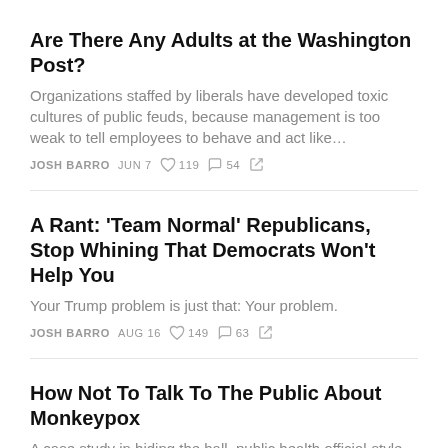Are There Any Adults at the Washington Post?
Organizations staffed by liberals have developed toxic cultures of public feuds, because management is too weak to tell employees to behave and act like…
JOSH BARRO  JUN 7  ♡ 119  ○ 54  ⇉
A Rant: 'Team Normal' Republicans, Stop Whining That Democrats Won't Help You
Your Trump problem is just that: Your problem.
JOSH BARRO  AUG 16  ♡ 149  ○ 63  ⇉
How Not To Talk To The Public About Monkeypox
A case study in hiding the ball, public health official-style
JOSH BARRO  AUG 11  ♡ 73  ○ 20  ⇉
See all ›